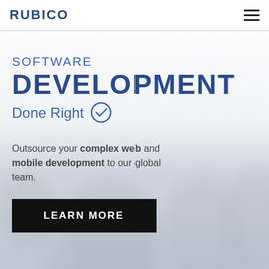RUBICO
SOFTWARE
DEVELOPMENT
Done Right
[Figure (photo): Background photo of three people (two men and a woman) sitting together at a table with a laptop, appearing to be in a collaborative work meeting. The image is muted/greyed out to serve as a background.]
Outsource your complex web and mobile development to our global team.
LEARN MORE